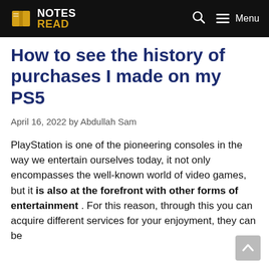NOTES READ — Menu
How to see the history of purchases I made on my PS5
April 16, 2022 by Abdullah Sam
PlayStation is one of the pioneering consoles in the way we entertain ourselves today, it not only encompasses the well-known world of video games, but it is also at the forefront with other forms of entertainment . For this reason, through this you can acquire different services for your enjoyment, they can be